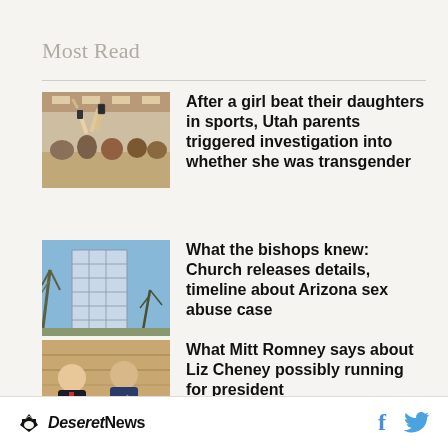Most Read
After a girl beat their daughters in sports, Utah parents triggered investigation into whether she was transgender
What the bishops knew: Church releases details, timeline about Arizona sex abuse case
What Mitt Romney says about Liz Cheney possibly running for president
Who's recruiting QB Isaac
Deseret News